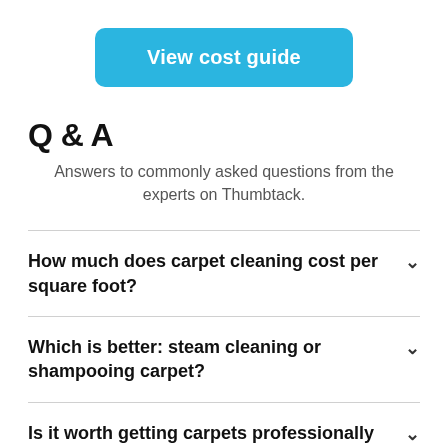[Figure (other): Blue rounded rectangle button labeled 'View cost guide' in white bold text]
Q & A
Answers to commonly asked questions from the experts on Thumbtack.
How much does carpet cleaning cost per square foot?
Which is better: steam cleaning or shampooing carpet?
Is it worth getting carpets professionally cleaned?